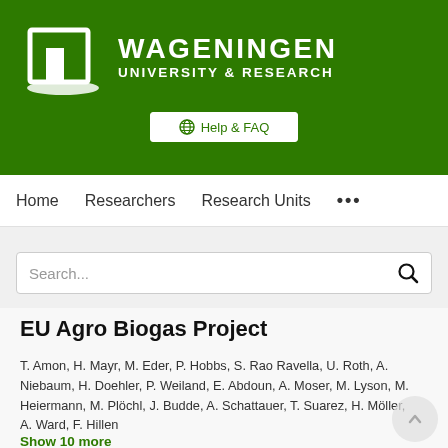[Figure (logo): Wageningen University & Research logo — white building/door icon on green background with text WAGENINGEN UNIVERSITY & RESEARCH]
Help & FAQ
Home   Researchers   Research Units   ...
Search...
EU Agro Biogas Project
T. Amon, H. Mayr, M. Eder, P. Hobbs, S. Rao Ravella, U. Roth, A. Niebaum, H. Doehler, P. Weiland, E. Abdoun, A. Moser, M. Lyson, M. Heiermann, M. Plöchl, J. Budde, A. Schattauer, T. Suarez, H. Möller, A. Ward, F. Hillen
Show 10 more